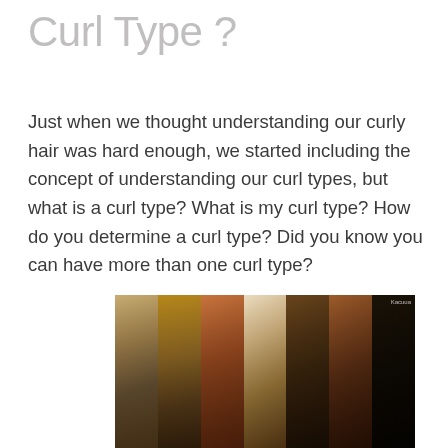Curl Type ?
Just when we thought understanding our curly hair was hard enough, we started including the concept of understanding our curl types, but what is a curl type? What is my curl type? How do you determine a curl type? Did you know you can have more than one curl type?
[Figure (photo): A photo collage showing multiple strips of different hair types side by side, ranging from straight wavy blonde hair on the left to tight kinky coily black hair on the right, demonstrating the curl type spectrum.]